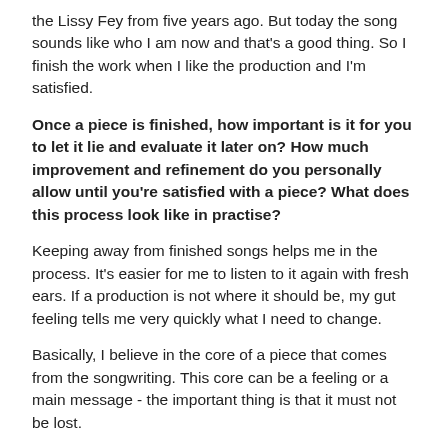the Lissy Fey from five years ago. But today the song sounds like who I am now and that’s a good thing. So I finish the work when I like the production and I’m satisfied.
Once a piece is finished, how important is it for you to let it lie and evaluate it later on? How much improvement and refinement do you personally allow until you’re satisfied with a piece? What does this process look like in practise?
Keeping away from finished songs helps me in the process. It’s easier for me to listen to it again with fresh ears. If a production is not where it should be, my gut feeling tells me very quickly what I need to change.
Basically, I believe in the core of a piece that comes from the songwriting. This core can be a feeling or a main message - the important thing is that it must not be lost.